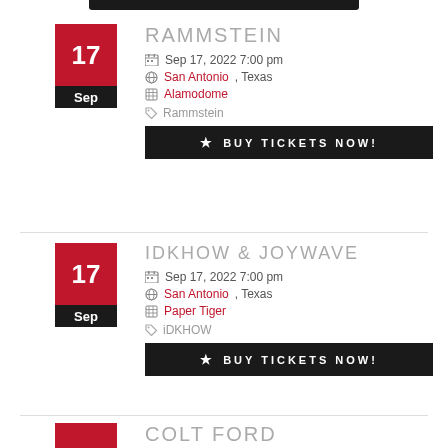RAMMSTEIN | Sep 17, 2022 7:00 pm | San Antonio, Texas | Alamodome | Rammstein | BUY TICKETS NOW!
IDKHOW & JOYWAVE | Sep 17, 2022 7:00 pm | San Antonio, Texas | Paper Tiger | iDKHOW | BUY TICKETS NOW!
COLT FORD